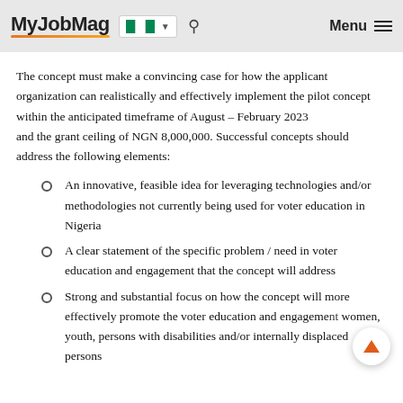MyJobMag [Nigeria flag] Menu
The concept must make a convincing case for how the applicant organization can realistically and effectively implement the pilot concept within the anticipated timeframe of August – February 2023 and the grant ceiling of NGN 8,000,000. Successful concepts should address the following elements:
An innovative, feasible idea for leveraging technologies and/or methodologies not currently being used for voter education in Nigeria
A clear statement of the specific problem / need in voter education and engagement that the concept will address
Strong and substantial focus on how the concept will more effectively promote the voter education and engagement women, youth, persons with disabilities and/or internally displaced persons